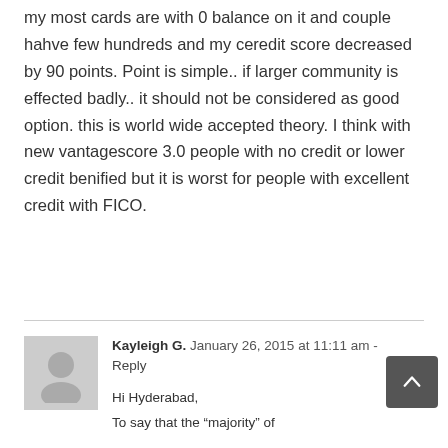my most cards are with 0 balance on it and couple hahve few hundreds and my ceredit score decreased by 90 points. Point is simple.. if larger community is effected badly.. it should not be considered as good option. this is world wide accepted theory. I think with new vantagescore 3.0 people with no credit or lower credit benified but it is worst for people with excellent credit with FICO.
Kayleigh G. January 26, 2015 at 11:11 am - Reply
Hi Hyderabad,
To say that the “majority” of